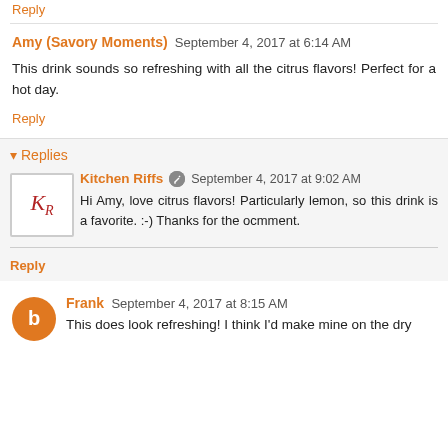Reply
Amy (Savory Moments) September 4, 2017 at 6:14 AM
This drink sounds so refreshing with all the citrus flavors! Perfect for a hot day.
Reply
Replies
Kitchen Riffs September 4, 2017 at 9:02 AM
Hi Amy, love citrus flavors! Particularly lemon, so this drink is a favorite. :-) Thanks for the ocmment.
Reply
Frank September 4, 2017 at 8:15 AM
This does look refreshing! I think I'd make mine on the dry